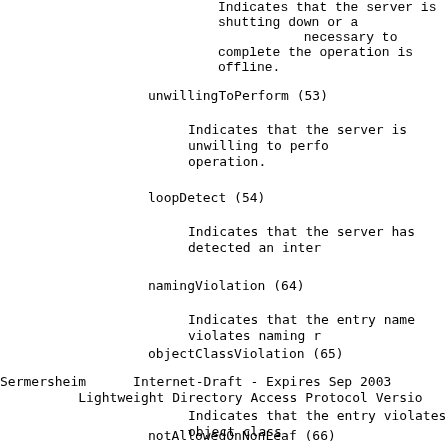Indicates that the server is shutting down or a necessary to complete the operation is offline.
unwillingToPerform (53)
Indicates that the server is unwilling to perform the operation.
loopDetect (54)
Indicates that the server has detected an inter
namingViolation (64)
Indicates that the entry name violates naming r
objectClassViolation (65)
Sermersheim      Internet-Draft - Expires Sep 2003
          Lightweight Directory Access Protocol Versio
Indicates that the entry violates object class
notAllowedOnNonLeaf (66)